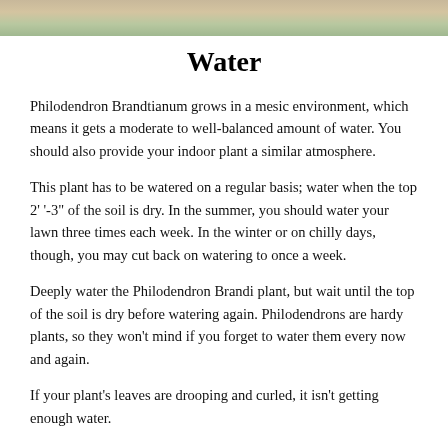[Figure (photo): Partial photo of a plant, likely a Philodendron Brandtianum, showing green leaves and possibly a hand, cropped at the top of the page.]
Water
Philodendron Brandtianum grows in a mesic environment, which means it gets a moderate to well-balanced amount of water. You should also provide your indoor plant a similar atmosphere.
This plant has to be watered on a regular basis; water when the top 2’ ‘-3” of the soil is dry. In the summer, you should water your lawn three times each week. In the winter or on chilly days, though, you may cut back on watering to once a week.
Deeply water the Philodendron Brandi plant, but wait until the top of the soil is dry before watering again. Philodendrons are hardy plants, so they won’t mind if you forget to water them every now and again.
If your plant’s leaves are drooping and curled, it isn’t getting enough water.
It is susceptible to overwatering since it is an epiphytic plant with